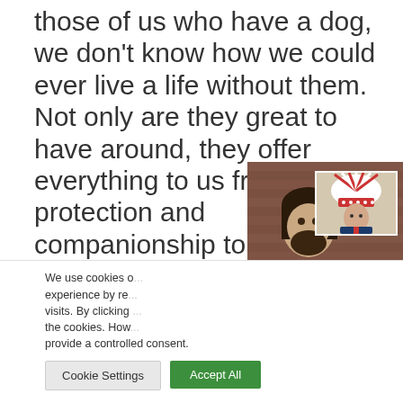those of us who have a dog, we don't know how we could ever live a life without them. Not only are they great to have around, they offer everything to us from protection and companionship to unconditional love. Very few dogs will ask anything in return but w... something, with how th...
[Figure (screenshot): Video player showing a man with a beard (Louder with Crowder) with a thumbnail inset of a person in a Native American headdress, a play button overlay, and a '9 seconds...' timer badge in the top right corner]
We use cookies o... experience by re... visits. By clicking ... the cookies. How... provide a controlled consent.
Cookie Settings
Accept All